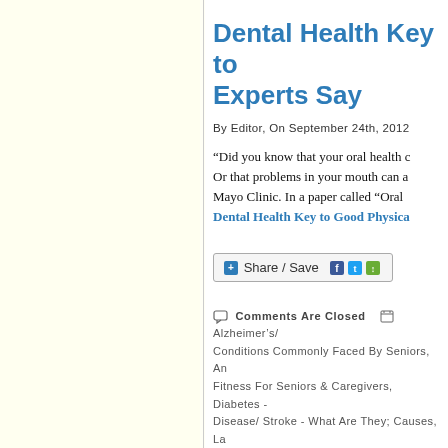Dental Health Key to Experts Say
By Editor, On September 24th, 2012
“Did you know that your oral health c... Or that problems in your mouth can a... Mayo Clinic. In a paper called “Oral ...
Dental Health Key to Good Physica...
[Figure (other): Share / Save social sharing button with Facebook, Twitter, and other icons]
Comments Are Closed   Alzheimer’s/ Conditions Commonly Faced By Seniors, An... Fitness For Seniors & Caregivers, Diabetes - Disease/ Stroke - What Are They; Causes, La... New & Featured On HelpingYouCare® - Dyn... Caregiver News, Physical Wellness: Quit Sm... Wellness/ Healthy Living For Seniors & Car...
Is Stress at Work Ado... Family Caregiver S...